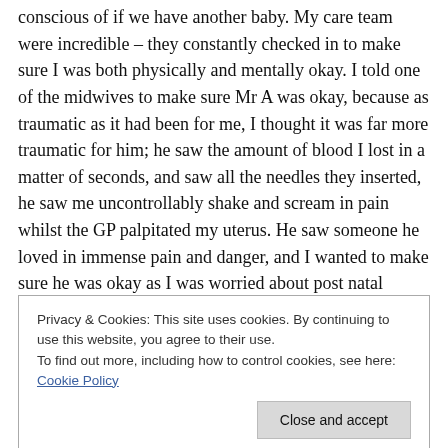conscious of if we have another baby. My care team were incredible – they constantly checked in to make sure I was both physically and mentally okay. I told one of the midwives to make sure Mr A was okay, because as traumatic as it had been for me, I thought it was far more traumatic for him; he saw the amount of blood I lost in a matter of seconds, and saw all the needles they inserted, he saw me uncontrollably shake and scream in pain whilst the GP palpitated my uterus. He saw someone he loved in immense pain and danger, and I wanted to make sure he was okay as I was worried about post natal depression
Privacy & Cookies: This site uses cookies. By continuing to use this website, you agree to their use.
To find out more, including how to control cookies, see here: Cookie Policy
women and their babies can stay overnight, and it was so